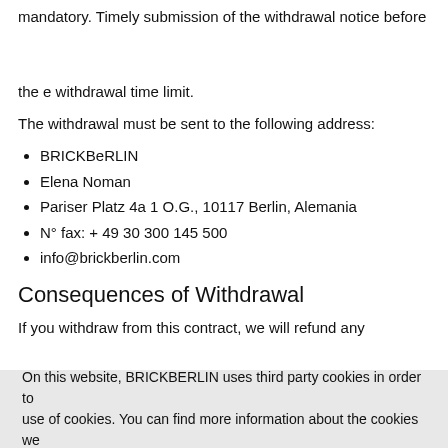mandatory. Timely submission of the withdrawal notice before the expiry of the withdrawal time limit.
The withdrawal must be sent to the following address:
BRICKBeRLIN
Elena Noman
Pariser Platz 4a 1 O.G., 10117 Berlin, Alemania
N° fax: + 49 30 300 145 500
info@brickberlin.com
Consequences of Withdrawal
If you withdraw from this contract, we will refund any payments we have received from you, no later than fourteen days from the day on which the notification has been received by us regarding your withdrawal from this contract, using the same means of payment that you used for the initial transaction, unless otherwise expressly agreed with you.
If you required that the services begin during the withdrawal period, you shall pay us a reasonable amount corresponding to the services already provided up to the point of time you informed us of the exercising of the withdrawal right, compared to the full extent of services provided for in the contract.
On this website, BRICKBERLIN uses third party cookies in order to improve your experience. Please accept the use of cookies. You can find more information about the cookies we use in our privacy policy.